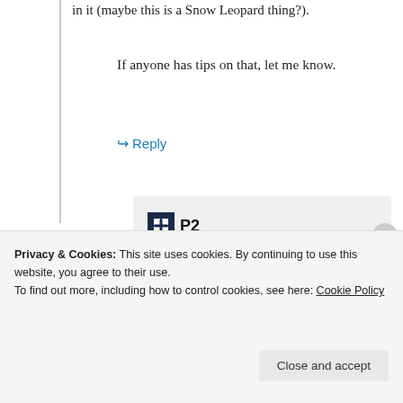in it (maybe this is a Snow Leopard thing).
If anyone has tips on that, let me know.
↪ Reply
[Figure (infographic): P2 advertisement block with logo, headline 'Getting your team on the same page is easy. And free.' and three circular profile photo avatars with a blue plus circle]
Privacy & Cookies: This site uses cookies. By continuing to use this website, you agree to their use.
To find out more, including how to control cookies, see here: Cookie Policy
Close and accept